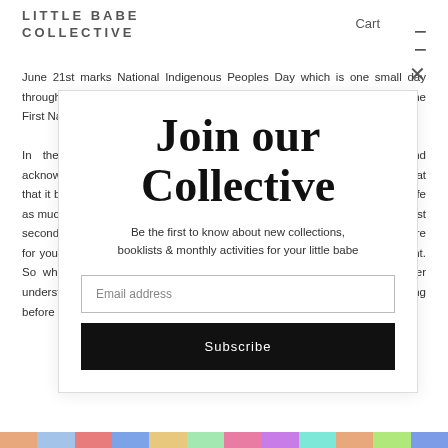LITTLE BABE
COLLECTIVE
Cart
June 21st marks National Indigenous Peoples Day which is one small day throughout the year that aims to recognize the cultures and contributions of the First Nations, Inuit and Metis Indigenous peoples of Canada.

In the act of reconciliation, many schools and days offer a land acknowledgement. This is widely stated in schools on an ongoing basis in that that it becomes second nature. Learning is meaningful when it is brought to life as much as possible. However, because these acknowledgements become just second nature to your school aged children, it doesn't mean it is second nature for you - nor does it mean they are actively participating in acknowledgement. So what's one way you can support yourself and your children to better understand the histories of folk who cultivated and lived on this land long before any of us? BOOKS!
Join our Collective
Be the first to know about new collections, booklists & monthly activities for your little babe
Email address
Subscribe